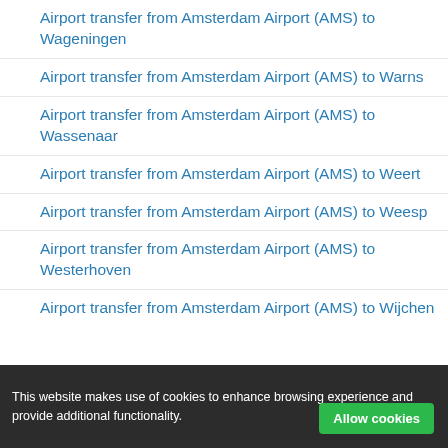Airport transfer from Amsterdam Airport (AMS) to Wageningen
Airport transfer from Amsterdam Airport (AMS) to Warns
Airport transfer from Amsterdam Airport (AMS) to Wassenaar
Airport transfer from Amsterdam Airport (AMS) to Weert
Airport transfer from Amsterdam Airport (AMS) to Weesp
Airport transfer from Amsterdam Airport (AMS) to Westerhoven
Airport transfer from Amsterdam Airport (AMS) to Wijchen
This website makes use of cookies to enhance browsing experience and provide additional functionality.